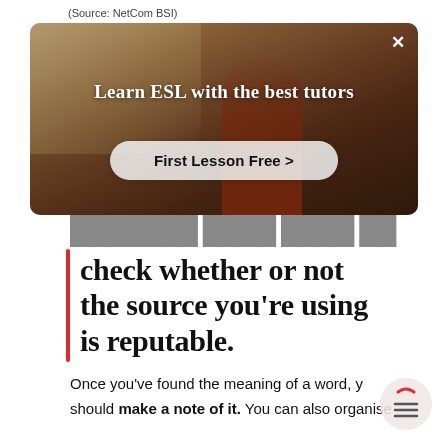(Source: NetCom BSI)
[Figure (screenshot): Advertisement screenshot: 'Learn ESL with the best tutors' with 'First Lesson Free >' button, dark warm-toned background with a person in red]
check whether or not the source you're using is reputable.
Once you've found the meaning of a word, y should make a note of it. You can also organise